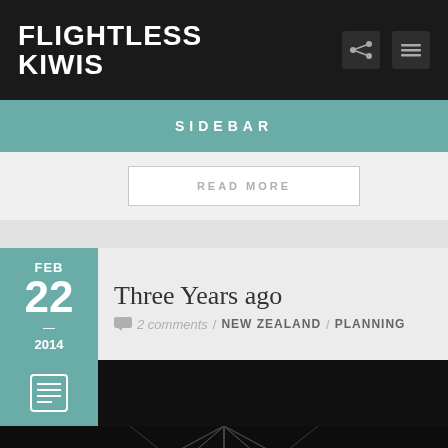FLIGHTLESS KIWIS
SIDEBAR
READ MORE
Three Years ago
2 comments / NEW ZEALAND / PLANNING
FEB 22 — 2014
[Figure (photo): Black and white photograph showing a geometric metal framework or scaffold structure viewed from below, with triangular patterns and a person silhouette visible in the lower portion.]